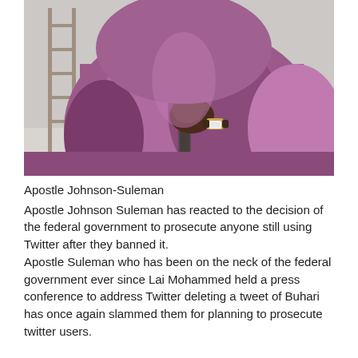[Figure (photo): A person wearing purple/mauve flowing robes holding a staff or cane, with a gold watch visible on their wrist. A ladder is partially visible in the background against a light sky.]
Apostle Johnson-Suleman
Apostle Johnson Suleman has reacted to the decision of the federal government to prosecute anyone still using Twitter after they banned it. Apostle Suleman who has been on the neck of the federal government ever since Lai Mohammed held a press conference to address Twitter deleting a tweet of Buhari has once again slammed them for planning to prosecute twitter users.